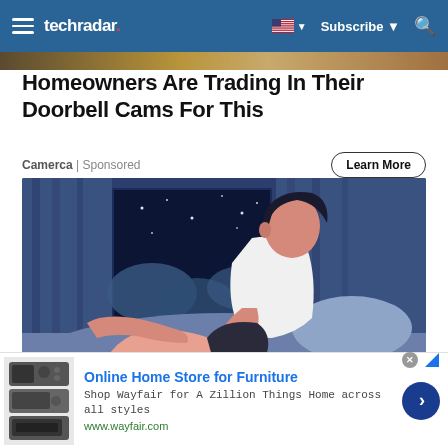techradar | Subscribe
Homeowners Are Trading In Their Doorbell Cams For This
Camerca | Sponsored
Learn More
[Figure (illustration): Illustration of a man in a white tank top sitting on a bed at night, looking at a laptop, with a window showing a starry night sky behind him]
Online Home Store for Furniture
Shop Wayfair for A Zillion Things Home across all styles
www.wayfair.com